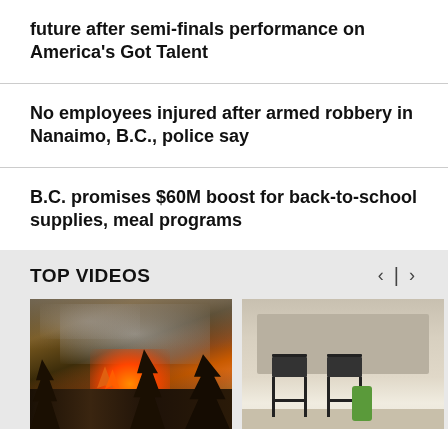future after semi-finals performance on America's Got Talent
No employees injured after armed robbery in Nanaimo, B.C., police say
B.C. promises $60M boost for back-to-school supplies, meal programs
TOP VIDEOS
[Figure (photo): Video thumbnail showing a forest fire with flames and smoke among trees]
[Figure (photo): Video thumbnail showing a classroom with chairs and a green item on the floor]